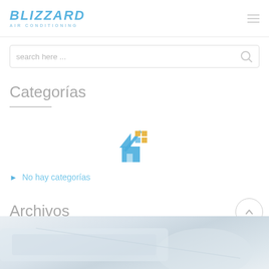BLIZZARD AIR CONDITIONING
search here ...
Categorías
[Figure (logo): House icon with blue and yellow/gold colors, representing a real estate or home services logo]
No hay categorías
Archivos
[Figure (photo): Partial photo of an air conditioning unit, light gray tones]